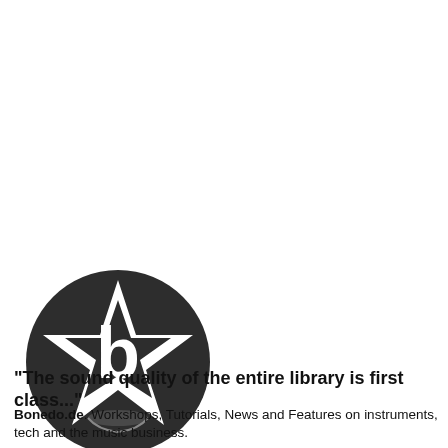[Figure (logo): Bonedo.de circular logo: dark gray/black circle containing a white star shape with the letter 'b' and a brass instrument graphic]
"The sound quality of the entire library is first class..."
Bonedo.de. Workshops, Tutorials, News and Features on instruments, tech and the music business.